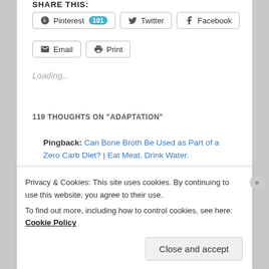SHARE THIS:
Pinterest 101
Twitter
Facebook
Email
Print
Loading...
119 THOUGHTS ON “ADAPTATION”
Pingback: Can Bone Broth Be Used as Part of a Zero Carb Diet? | Eat Meat. Drink Water.
Pingback: My First Four Months on Zero Carb by
Privacy & Cookies: This site uses cookies. By continuing to use this website, you agree to their use.
To find out more, including how to control cookies, see here: Cookie Policy
Close and accept